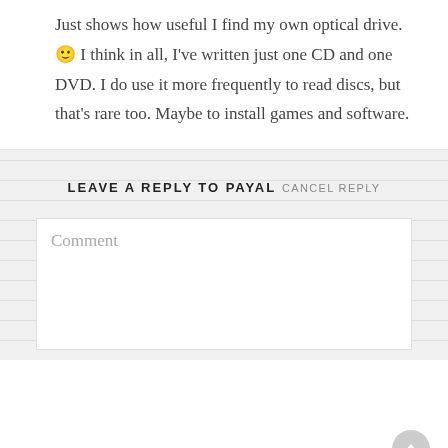Just shows how useful I find my own optical drive. 🙂 I think in all, I've written just one CD and one DVD. I do use it more frequently to read discs, but that's rare too. Maybe to install games and software.
LEAVE A REPLY TO PAYAL CANCEL REPLY
Comment